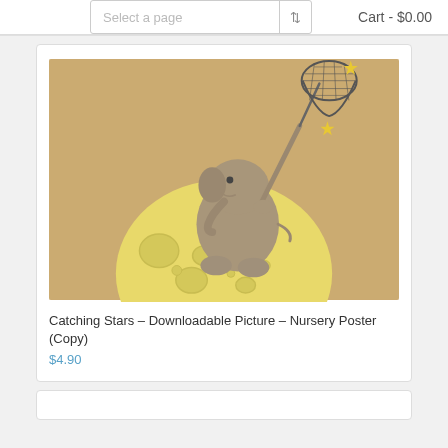Select a page   Cart - $0.00
[Figure (illustration): Illustration of a baby elephant sitting on a yellow moon, holding a butterfly net to catch stars. Warm beige/kraft paper background with yellow stars.]
Catching Stars – Downloadable Picture – Nursery Poster (Copy)
$4.90